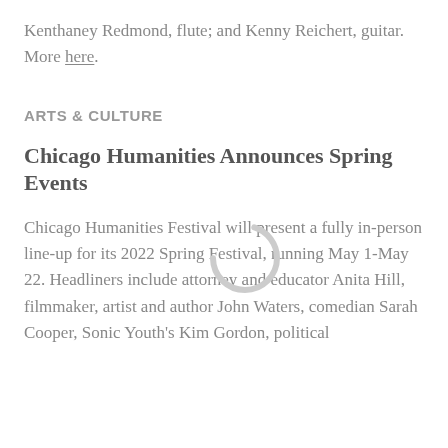Kenthaney Redmond, flute; and Kenny Reichert, guitar. More here.
ARTS & CULTURE
Chicago Humanities Announces Spring Events
Chicago Humanities Festival will present a fully in-person line-up for its 2022 Spring Festival, running May 1-May 22. Headliners include attorney and educator Anita Hill, filmmaker, artist and author John Waters, comedian Sarah Cooper, Sonic Youth's Kim Gordon, political